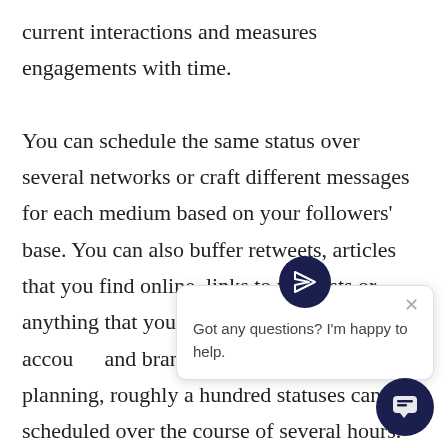current interactions and measures engagements with time.

You can schedule the same status over several networks or craft different messages for each medium based on your followers' base. You can also buffer retweets, articles that you find online, links to podcasts or anything that you deem valuable f[o]r over 20 accou[nts] and brand ones) planning, roughly a hundred statuses can be scheduled over the course of several hours. This is ongoing content
[Figure (screenshot): Chat widget popup with paper-plane icon circle, close X button, and text 'Got any questions? I'm happy to help.']